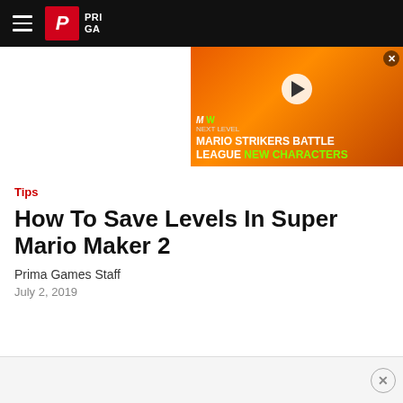Prima Games
[Figure (screenshot): Mario Strikers Battle League New Characters video ad overlay in top-right corner with orange background, play button, and game character]
Tips
How To Save Levels In Super Mario Maker 2
Prima Games Staff
July 2, 2019